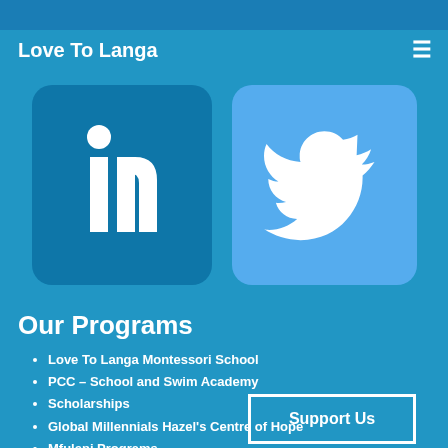Love To Langa
[Figure (logo): LinkedIn logo icon — dark teal rounded square with white 'in' lettering and dot above]
[Figure (logo): Twitter bird logo icon — light blue rounded square with white Twitter bird silhouette]
Our Programs
Love To Langa Montessori School
PCC – School and Swim Academy
Scholarships
Global Millennials Hazel's Centre of Hope
Mfuleni Programs
Teacher Training Workshops
Photography…
Support Us